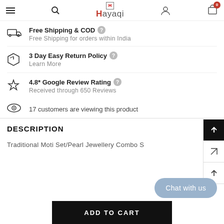Hayaqi — navigation header with hamburger, search, logo, account and cart (0 items)
Free Shipping & COD — Free Shipping for orders within India
3 Day Easy Return Policy — Learn More
4.8* Google Review Rating — Received through 650 Reviews
17 customers are viewing this product
DESCRIPTION
Traditional Moti Set/Pearl Jewellery Combo S